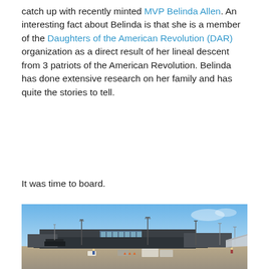catch up with recently minted MVP Belinda Allen. An interesting fact about Belinda is that she is a member of the Daughters of the American Revolution (DAR) organization as a direct result of her lineal descent from 3 patriots of the American Revolution. Belinda has done extensive research on her family and has quite the stories to tell.
It was time to board.
[Figure (photo): Airport tarmac with terminal building in the background, light poles, vehicles, cargo containers, and the wing of a plane visible on the right side. Blue sky above.]